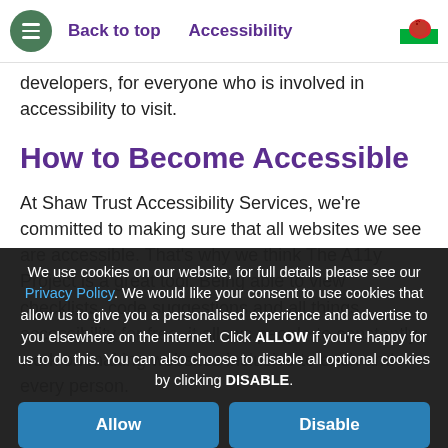Back to top  Accessibility
developers, for everyone who is involved in accessibility to visit.
How to Become Accessible
At Shaw Trust Accessibility Services, we're committed to making sure that all websites we see are accessible. That's why we think The A11y Project is a great tool. Being able to view checklists, code suggestions and all things accessibility for free, it allows people to constantly work on making websites inclusive to each and every person.
We use cookies on our website, for full details please see our Privacy Policy. We would like your consent to use cookies that allow us to give you a personalised experience and advertise to you elsewhere on the internet. Click ALLOW if you're happy for us to do this. You can also choose to disable all optional cookies by clicking DISABLE.